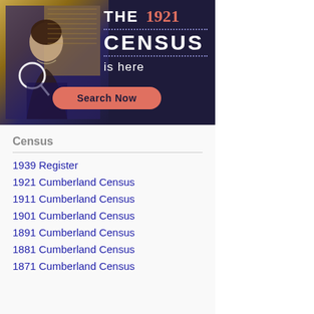[Figure (illustration): Advertisement banner for The 1921 Census with a woman's portrait on a dark navy background, dotted lines, and a 'Search Now' button in salmon/coral color.]
Census
1939 Register
1921 Cumberland Census
1911 Cumberland Census
1901 Cumberland Census
1891 Cumberland Census
1881 Cumberland Census
1871 Cumberland Census